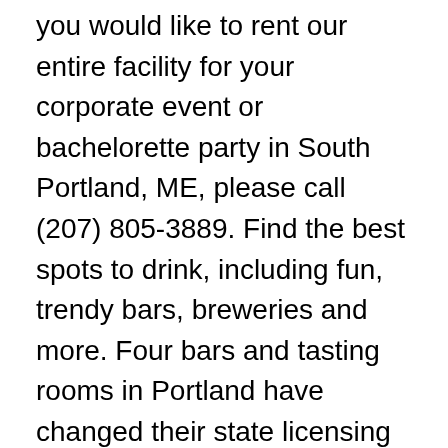you would like to rent our entire facility for your corporate event or bachelorette party in South Portland, ME, please call (207) 805-3889. Find the best spots to drink, including fun, trendy bars, breweries and more. Four bars and tasting rooms in Portland have changed their state licensing so they qualify as … This guide to Portland's essential watering holes encompasses bars of all stripes, representing Portland's working class roots and its more recent nationally-acclaimed food scene. For questions, comments and inquiries please email: [email protected] For additional perspectives on the past year in food see Andrew Ross's 2020 Best of list in the Maine Sunday Telegram. Order grass-fed cheeseburgers at roomy picnic tables and buy